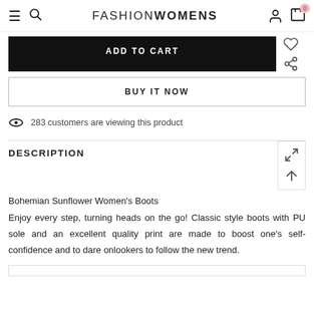FASHION WOMENS
ADD TO CART
BUY IT NOW
283 customers are viewing this product
DESCRIPTION
Bohemian Sunflower Women's Boots
Enjoy every step, turning heads on the go! Classic style boots with PU sole and an excellent quality print are made to boost one's self-confidence and to dare onlookers to follow the new trend.